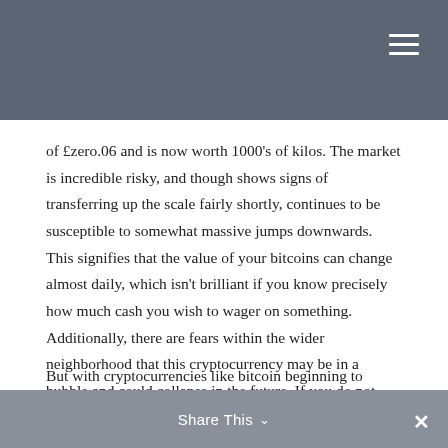of £zero.06 and is now worth 1000's of kilos. The market is incredible risky, and though shows signs of transferring up the scale fairly shortly, continues to be susceptible to somewhat massive jumps downwards. This signifies that the value of your bitcoins can change almost daily, which isn't brilliant if you know precisely how much cash you wish to wager on something. Additionally, there are fears within the wider neighborhood that this cryptocurrency may be in a bubble and could collapse in the future. If you do not need anybody to know you've been betting, utilizing bitcoin to deposit into your account fully takes out the middleman. As all the transactions are encrypted you remain mainly anonymous.
But with cryptocurrencies like bitcoin beginning to
Share This